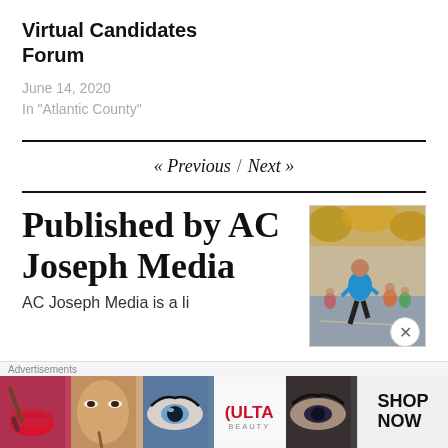Virtual Candidates Forum
June 14, 2020
In "Atlantic County"
« Previous / Next »
Published by AC Joseph Media
AC Joseph Media is a...
[Figure (photo): Person in blue shirt running in a race outdoors]
Advertisements
[Figure (photo): Ulta Beauty advertisement banner showing makeup/beauty images with SHOP NOW button]